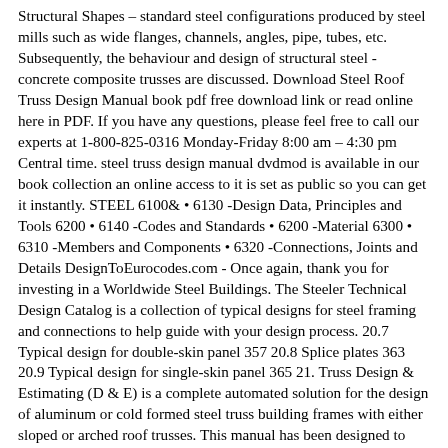Structural Shapes – standard steel configurations produced by steel mills such as wide flanges, channels, angles, pipe, tubes, etc. Subsequently, the behaviour and design of structural steel - concrete composite trusses are discussed. Download Steel Roof Truss Design Manual book pdf free download link or read online here in PDF. If you have any questions, please feel free to call our experts at 1-800-825-0316 Monday-Friday 8:00 am – 4:30 pm Central time. steel truss design manual dvdmod is available in our book collection an online access to it is set as public so you can get it instantly. STEEL 6100& • 6130 -Design Data, Principles and Tools 6200 • 6140 -Codes and Standards • 6200 -Material 6300 • 6310 -Members and Components • 6320 -Connections, Joints and Details DesignToEurocodes.com - Once again, thank you for investing in a Worldwide Steel Buildings. The Steeler Technical Design Catalog is a collection of typical designs for steel framing and connections to help guide with your design process. 20.7 Typical design for double-skin panel 357 20.8 Splice plates 363 20.9 Typical design for single-skin panel 365 21. Truss Design & Estimating (D & E) is a complete automated solution for the design of aluminum or cold formed steel truss building frames with either sloped or arched roof trusses. This manual has been designed to assist you in the erection of your Worldwide Steel Buildings. Where To Download Steel Truss Design Manual Since 1950 the manufacturing efficiency of steel trusses has improved dramatically, driving down costs and increasing versatility.